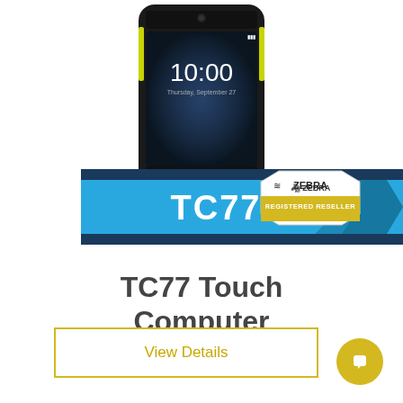[Figure (photo): Zebra TC77 rugged Android touch computer handheld device shown from the front, displaying 10:00 time on screen, with black rubber bumpers and navigation buttons at bottom]
[Figure (infographic): Blue banner with TC77 text in white bold font, dark blue stripes at top and bottom, and Zebra Registered Reseller badge in upper right corner with yellow/gold color]
TC77 Touch Computer
View Details